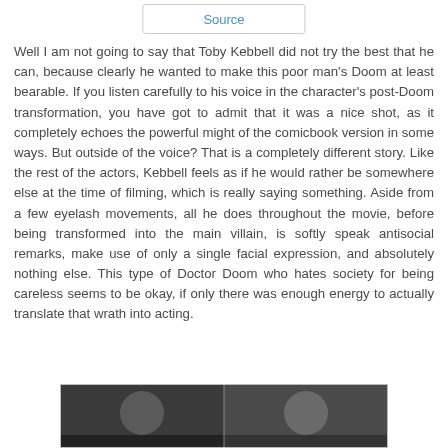Source
Well I am not going to say that Toby Kebbell did not try the best that he can, because clearly he wanted to make this poor man's Doom at least bearable. If you listen carefully to his voice in the character's post-Doom transformation, you have got to admit that it was a nice shot, as it completely echoes the powerful might of the comicbook version in some ways. But outside of the voice? That is a completely different story. Like the rest of the actors, Kebbell feels as if he would rather be somewhere else at the time of filming, which is really saying something. Aside from a few eyelash movements, all he does throughout the movie, before being transformed into the main villain, is softly speak antisocial remarks, make use of only a single facial expression, and absolutely nothing else. This type of Doctor Doom who hates society for being careless seems to be okay, if only there was enough energy to actually translate that wrath into acting.
[Figure (photo): Two side-by-side film stills showing actors in a dark scene]